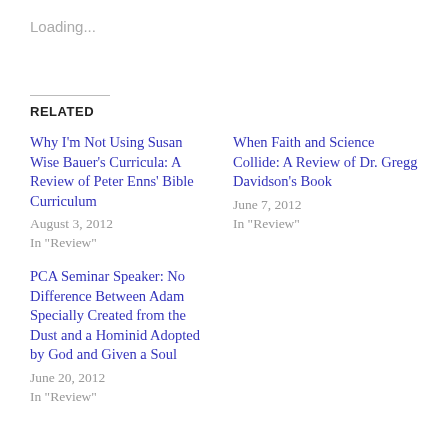Loading...
RELATED
Why I'm Not Using Susan Wise Bauer's Curricula: A Review of Peter Enns' Bible Curriculum
August 3, 2012
In "Review"
When Faith and Science Collide: A Review of Dr. Gregg Davidson's Book
June 7, 2012
In "Review"
PCA Seminar Speaker: No Difference Between Adam Specially Created from the Dust and a Hominid Adopted by God and Given a Soul
June 20, 2012
In "Review"